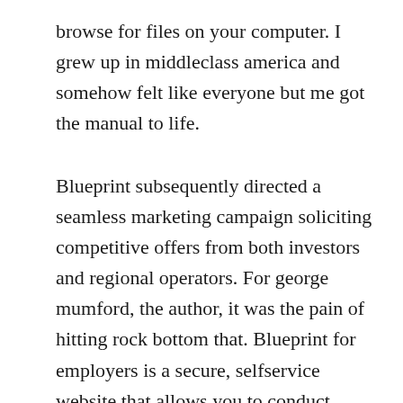browse for files on your computer. I grew up in middleclass america and somehow felt like everyone but me got the manual to life.
Blueprint subsequently directed a seamless marketing campaign soliciting competitive offers from both investors and regional operators. For george mumford, the author, it was the pain of hitting rock bottom that. Blueprint for employers is a secure, selfservice website that allows you to conduct business trans. Free deck plans and blueprints online with pdf downloads. Dean graziosi